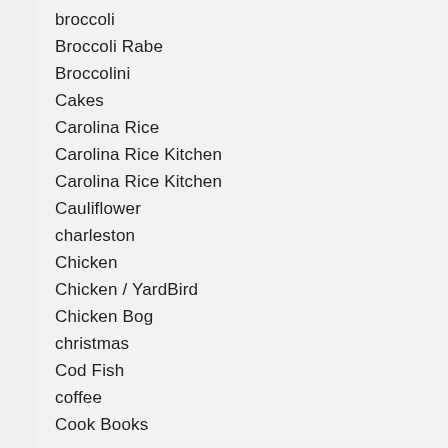broccoli
Broccoli Rabe
Broccolini
Cakes
Carolina Rice
Carolina Rice Kitchen
Carolina Rice Kitchen
Cauliflower
charleston
Chicken
Chicken / YardBird
Chicken Bog
christmas
Cod Fish
coffee
Cook Books